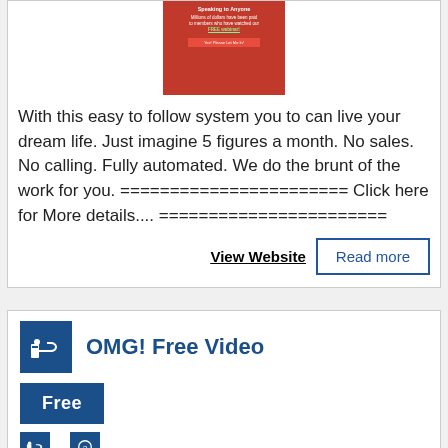[Figure (other): Promotional image with red background showing text about free webinar and dollars paid to members]
With this easy to follow system you to can live your dream life. Just imagine 5 figures a month. No sales. No calling. Fully automated. We do the brunt of the work for you. ======================= Click here for More details.... =======================
View Website
Read more
[Figure (logo): Blue square icon with hand/money graphic]
OMG! Free Video
Free